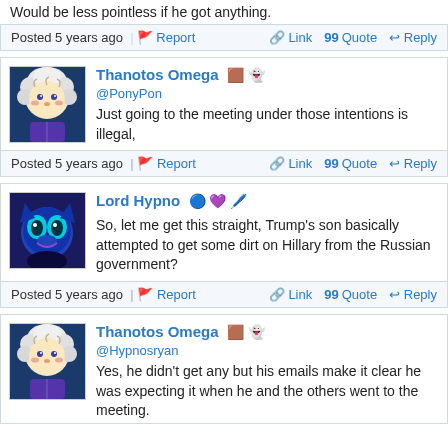Would be less pointless if he got anything.
Posted 5 years ago | Report | Link | Quote | Reply
Thanotos Omega @PonyPon Just going to the meeting under those intentions is illegal,
Posted 5 years ago | Report | Link | Quote | Reply
Lord Hypno So, let me get this straight, Trump's son basically attempted to get some dirt on Hillary from the Russian government?
Posted 5 years ago | Report | Link | Quote | Reply
Thanotos Omega @Hypnosryan Yes, he didn't get any but his emails make it clear he was expecting it when he and the others went to the meeting.